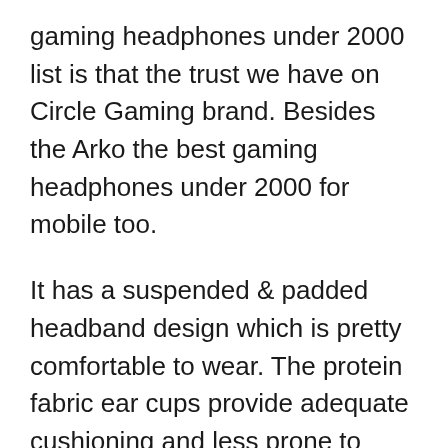gaming headphones under 2000 list is that the trust we have on Circle Gaming brand. Besides the Arko the best gaming headphones under 2000 for mobile too.
It has a suspended & padded headband design which is pretty comfortable to wear. The protein fabric ear cups provide adequate cushioning and less prone to wear and tears on daily usage. However, the speakers are of a smaller size than other gaming headsets in our top 10 gaming headphones under the 2000 list.
The RGB 7 colour breathing effects is the main highlight of this best gaming headphone with mic under 2000. The wired is long approx. 2...